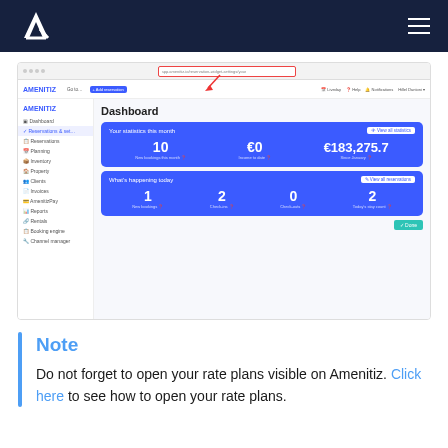Amenitiz logo and navigation bar
[Figure (screenshot): Screenshot of Amenitiz dashboard showing statistics: 10 new bookings this month, €0 income to date, €183,275.7 since January. What's happening today: 1 new booking, 2 check-ins, 0 check-outs, 2 today's stay count. Red arrow pointing to URL bar.]
Note
Do not forget to open your rate plans visible on Amenitiz. Click here to see how to open your rate plans.